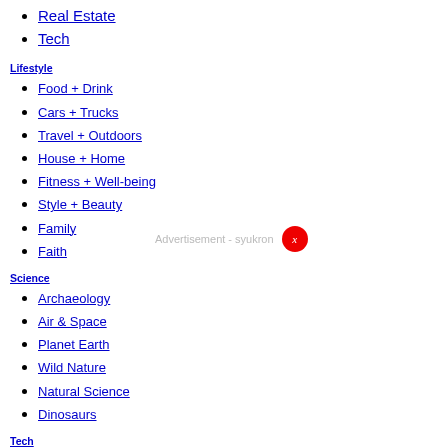Real Estate
Tech
Lifestyle
Food + Drink
Cars + Trucks
Travel + Outdoors
House + Home
Fitness + Well-being
Style + Beauty
Family
Faith
Science
Archaeology
Air & Space
Planet Earth
Wild Nature
Natural Science
Dinosaurs
Tech